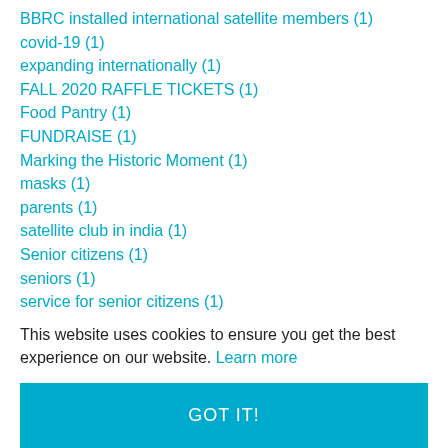BBRC installed international satellite members (1)
covid-19 (1)
expanding internationally (1)
FALL 2020 RAFFLE TICKETS (1)
Food Pantry (1)
FUNDRAISE (1)
Marking the Historic Moment (1)
masks (1)
parents (1)
satellite club in india (1)
Senior citizens (1)
seniors (1)
service for senior citizens (1)
Technology assistance – Basic (1)
This website uses cookies to ensure you get the best experience on our website. Learn more
GOT IT!